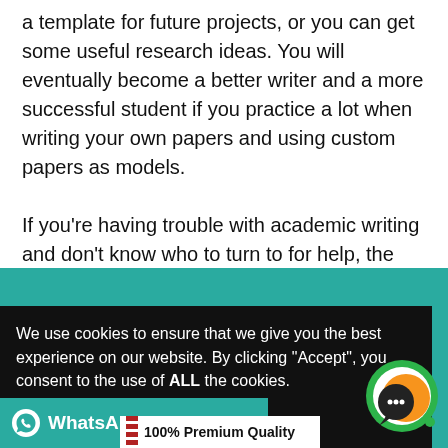a template for future projects, or you can get some useful research ideas. You will eventually become a better writer and a more successful student if you practice a lot when writing your own papers and using custom papers as models.

If you're having trouble with academic writing and don't know who to turn to for help, the only option is to purchase a well-written, plagiarism-free paper from our website and be confident in its quality.
[Figure (screenshot): Teal banner section partially visible with large white text 'SARCH' (part of 'RESEARCH'), overlaid by a black cookie consent dialog, a WhatsApp bar, a chat widget, and a '100% Premium Quality' bar.]